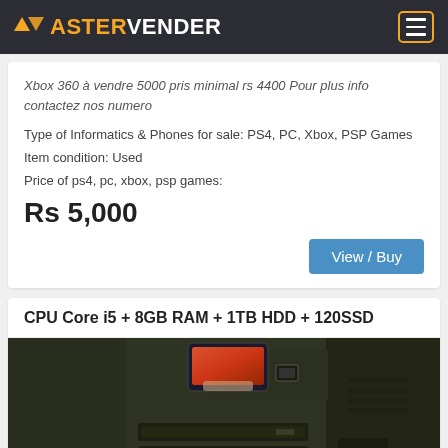ASTERVENDER
Xbox 360 à vendre 5000 pris minimal rs 4400 Pour plus info contactez nos numero
Type of Informatics & Phones for sale: PS4, PC, Xbox, PSP Games
Item condition: Used
Price of ps4, pc, xbox, psp games:
Rs 5,000
View / Buy
CPU Core i5 + 8GB RAM + 1TB HDD + 120SSD
[Figure (photo): Photo of a desktop computer tower showing front panel with CD/DVD drives, ports, and audio jacks. A smartphone is placed on top of the tower.]